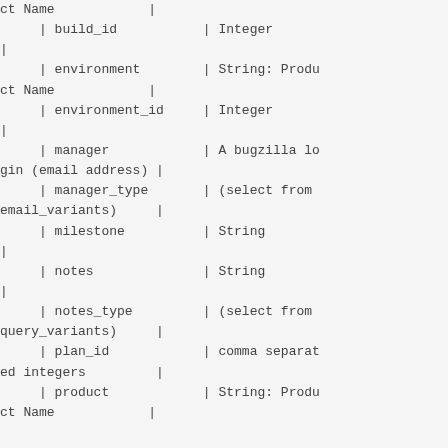| Field Name | Type |
| --- | --- |
| build_id | Integer |
| environment | String: Product Name |
| environment_id | Integer |
| manager | A bugzilla login (email address) |
| manager_type | (select from email_variants) |
| milestone | String |
| notes | String |
| notes_type | (select from query_variants) |
| plan_id | comma separated integers |
| product | String: Product Name |